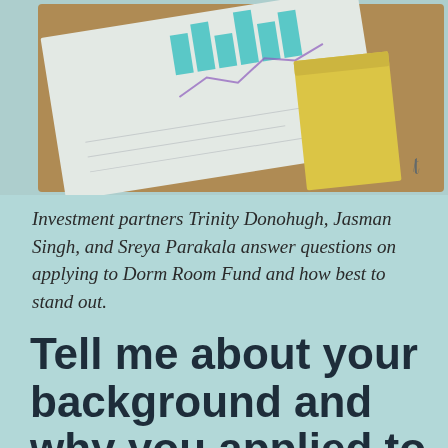[Figure (photo): Photo of documents and papers on a wooden clipboard with a yellow folder, showing charts and graphs, shot from above at an angle.]
Investment partners Trinity Donohugh, Jasman Singh, and Sreya Parakala answer questions on applying to Dorm Room Fund and how best to stand out.
Tell me about your background and why you applied to Dorm